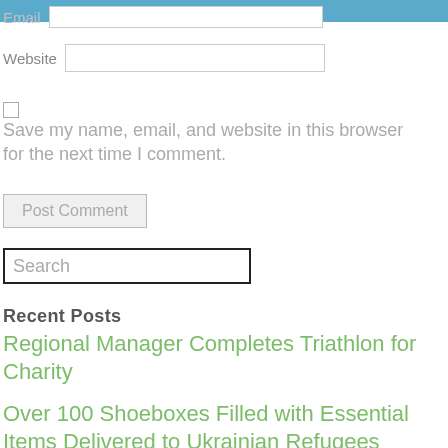Email
Website
Save my name, email, and website in this browser for the next time I comment.
Post Comment
Search
Recent Posts
Regional Manager Completes Triathlon for Charity
Over 100 Shoeboxes Filled with Essential Items Delivered to Ukrainian Refugees